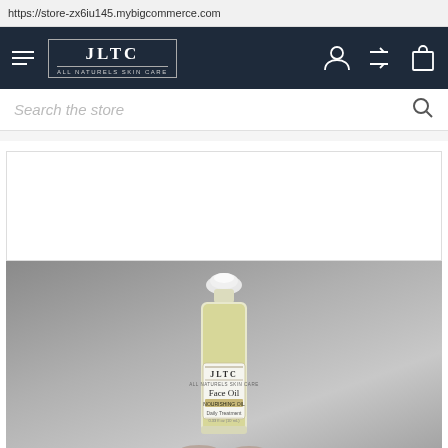https://store-zx6iu145.mybigcommerce.com
[Figure (screenshot): JLTC brand navigation bar with hamburger menu, logo, and icons for account, compare, and cart]
Search the store
[Figure (photo): JLTC Face Oil product in a small roller bottle with yellow-green oil, held against a gray gradient background. Label reads JLTC Face Oil, Nourishing Oil, Daily Treatment.]